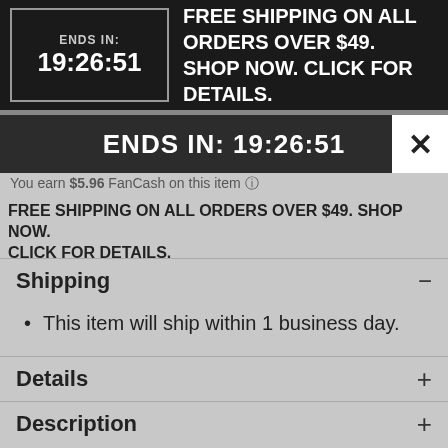[Figure (screenshot): Dark banner showing countdown timer box with 'ENDS IN: 19:26:51' and text 'FREE SHIPPING ON ALL ORDERS OVER $49. SHOP NOW. CLICK FOR DETAILS.']
ENDS IN: 19:26:51
[Figure (screenshot): Modal overlay bar showing 'ENDS IN: 19:26:51' with X close button]
You earn $5.96 FanCash on this item
FREE SHIPPING ON ALL ORDERS OVER $49. SHOP NOW. CLICK FOR DETAILS.
Shipping
This item will ship within 1 business day.
Details
Description
You May Also Like